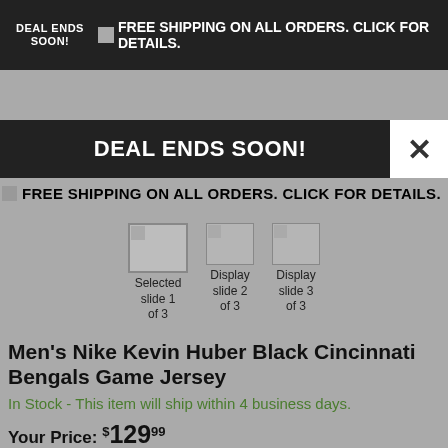DEAL ENDS SOON! FREE SHIPPING ON ALL ORDERS. CLICK FOR DETAILS.
DEAL ENDS SOON!
FREE SHIPPING ON ALL ORDERS. CLICK FOR DETAILS.
[Figure (screenshot): Three slide thumbnails: Selected slide 1 of 3, Display slide 2 of 3, Display slide 3 of 3]
Men's Nike Kevin Huber Black Cincinnati Bengals Game Jersey
In Stock - This item will ship within 4 business days.
Your Price: $129.99